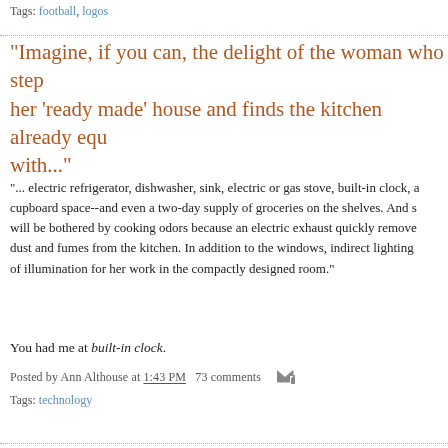Tags: football, logos
"Imagine, if you can, the delight of the woman who steps into her 'ready made' house and finds the kitchen already equ with..."
"... electric refrigerator, dishwasher, sink, electric or gas stove, built-in clock, a cupboard space--and even a two-day supply of groceries on the shelves. And s will be bothered by cooking odors because an electric exhaust quickly remove dust and fumes from the kitchen. In addition to the windows, indirect lighting of illumination for her work in the compactly designed room."
You had me at built-in clock.
Posted by Ann Althouse at 1:43 PM   73 comments
Tags: technology